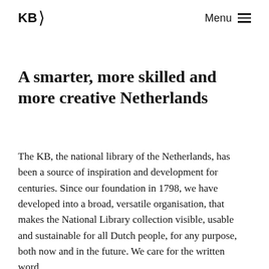KB | Menu
A smarter, more skilled and more creative Netherlands
The KB, the national library of the Netherlands, has been a source of inspiration and development for centuries. Since our foundation in 1798, we have developed into a broad, versatile organisation, that makes the National Library collection visible, usable and sustainable for all Dutch people, for any purpose, both now and in the future. We care for the written word